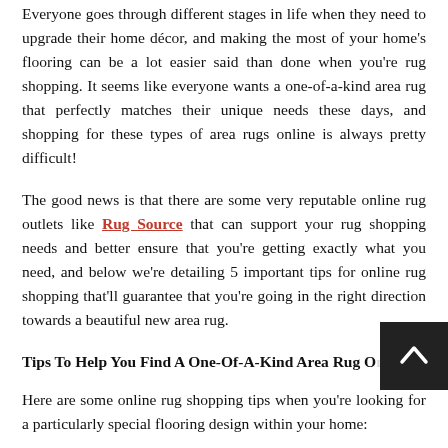Everyone goes through different stages in life when they need to upgrade their home décor, and making the most of your home's flooring can be a lot easier said than done when you're rug shopping. It seems like everyone wants a one-of-a-kind area rug that perfectly matches their unique needs these days, and shopping for these types of area rugs online is always pretty difficult!
The good news is that there are some very reputable online rug outlets like Rug Source that can support your rug shopping needs and better ensure that you're getting exactly what you need, and below we're detailing 5 important tips for online rug shopping that'll guarantee that you're going in the right direction towards a beautiful new area rug.
Tips To Help You Find A One-Of-A-Kind Area Rug Online
Here are some online rug shopping tips when you're looking for a particularly special flooring design within your home: